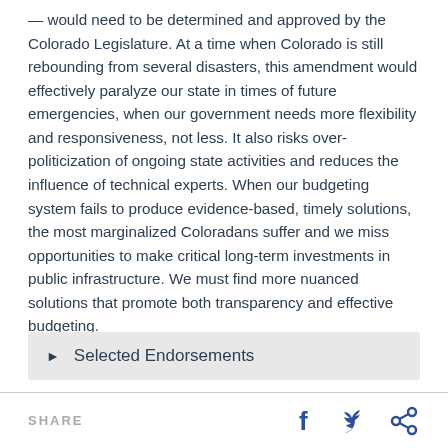— would need to be determined and approved by the Colorado Legislature. At a time when Colorado is still rebounding from several disasters, this amendment would effectively paralyze our state in times of future emergencies, when our government needs more flexibility and responsiveness, not less. It also risks over-politicization of ongoing state activities and reduces the influence of technical experts. When our budgeting system fails to produce evidence-based, timely solutions, the most marginalized Coloradans suffer and we miss opportunities to make critical long-term investments in public infrastructure. We must find more nuanced solutions that promote both transparency and effective budgeting.
▶ Selected Endorsements
SHARE